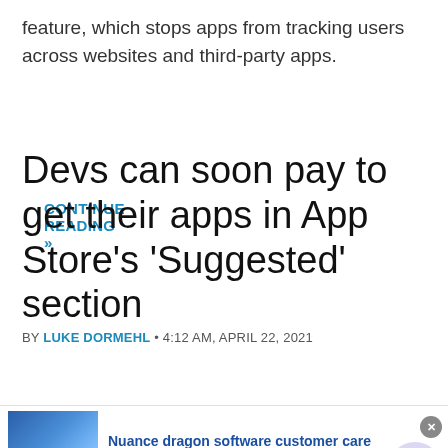feature, which stops apps from tracking users across websites and third-party apps.
CONTINUE READING »
Devs can soon pay to get their apps in App Store's 'Suggested' section
BY LUKE DORMEHL • 4:12 AM, APRIL 22, 2021
[Figure (screenshot): News banner with teal/blue background showing 'NEWS' label, and a blurred article image below]
[Figure (infographic): Advertisement bar: Nuance dragon software customer care. Visit nuancesupport.com/ to learn more. www.nuancesupport.com. With a photo of a hand on a glowing surface, and a circular blue arrow button.]